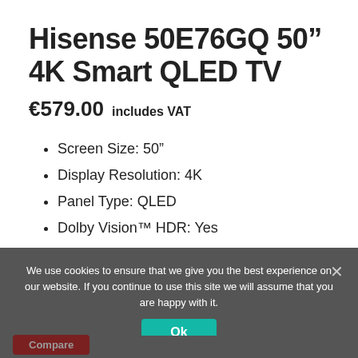Hisense 50E76GQ 50” 4K Smart QLED TV
€579.00 includes VAT
Screen Size: 50”
Display Resolution: 4K
Panel Type: QLED
Dolby Vision™ HDR: Yes
Dolby Atmos™: Yes
We use cookies to ensure that we give you the best experience on our website. If you continue to use this site we will assume that you are happy with it.